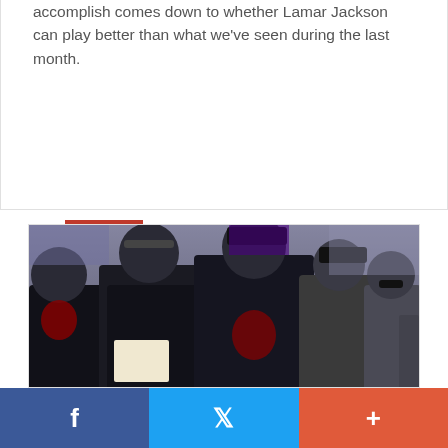accomplish comes down to whether Lamar Jackson can play better than what we've seen during the last month.
Read more
[Figure (photo): Baltimore Ravens coaches on the sideline during a game, wearing black and purple gear, one holding a play sheet]
Five Takeaways From The Ravens'
Facebook share | Twitter share | Plus share